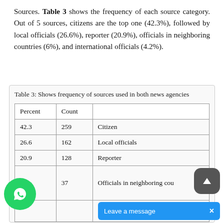Sources. Table 3 shows the frequency of each source category. Out of 5 sources, citizens are the top one (42.3%), followed by local officials (26.6%), reporter (20.9%), officials in neighboring countries (6%), and international officials (4.2%).
Table 3: Shows frequency of sources used in both news agencies
| Percent | Count |  |
| --- | --- | --- |
| 42.3 | 259 | Citizen |
| 26.6 | 162 | Local officials |
| 20.9 | 128 | Reporter |
|  | 37 | Officials in neighboring countries |
|  |  |  |